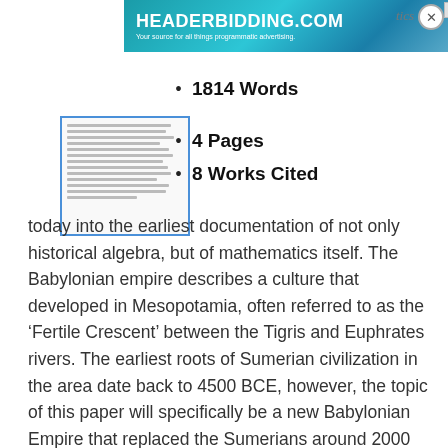[Figure (other): Advertisement banner for headerbidding.com with teal/blue gradient background. Text reads HEADERBIDDING.COM and 'Your source for all things programmatic advertising.']
[Figure (other): Thumbnail preview of a document page with horizontal text lines.]
1814 Words
4 Pages
8 Works Cited
today into the earliest documentation of not only historical algebra, but of mathematics itself. The Babylonian empire describes a culture that developed in Mesopotamia, often referred to as the ‘Fertile Crescent’ between the Tigris and Euphrates rivers. The earliest roots of Sumerian civilization in the area date back to 4500 BCE, however, the topic of this paper will specifically be a new Babylonian Empire that replaced the Sumerians around 2000 BCE, centering their civilization around their capital;…